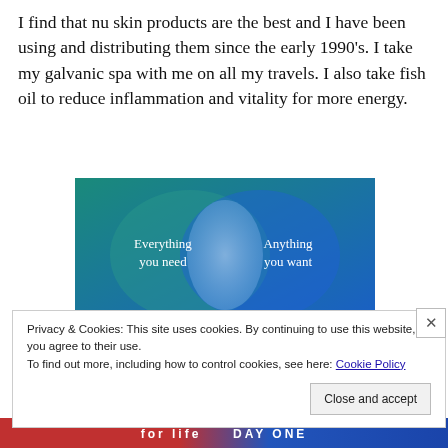I find that nu skin products are the best and I have been using and distributing them since the early 1990's. I take my galvanic spa with me on all my travels. I also take fish oil to reduce inflammation and vitality for more energy.
[Figure (illustration): Venn diagram style graphic with two overlapping circles on a teal-to-blue gradient background. Left circle area text: 'Everything you need'. Right circle area text: 'Anything you want'. Overlapping center area is lighter blue/white.]
Privacy & Cookies: This site uses cookies. By continuing to use this website, you agree to their use.
To find out more, including how to control cookies, see here: Cookie Policy
Close and accept
[Figure (other): Bottom banner bar with 'for life' text and 'DAY ONE' branding]